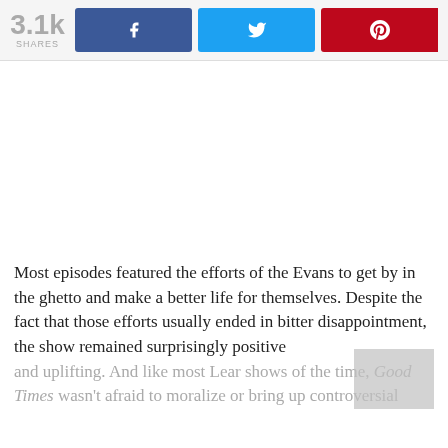[Figure (infographic): Social share bar showing 3.1k shares with Facebook, Twitter, and Pinterest buttons]
Most episodes featured the efforts of the Evans to get by in the ghetto and make a better life for themselves. Despite the fact that those efforts usually ended in bitter disappointment, the show remained surprisingly positive and uplifting. And like most Lear shows of the time, Good Times wasn't afraid to moralize or bring up controversial